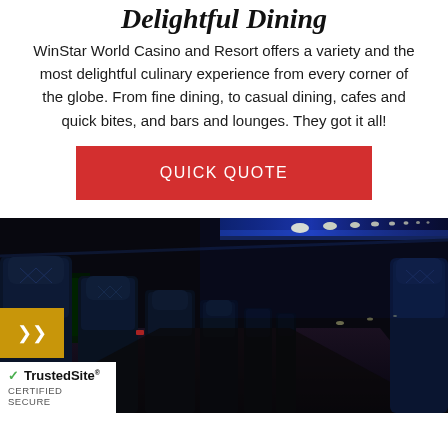Delightful Dining
WinStar World Casino and Resort offers a variety and the most delightful culinary experience from every corner of the globe. From fine dining, to casual dining, cafes and quick bites, and bars and lounges. They got it all!
QUICK QUOTE
[Figure (photo): Interior of a luxury charter bus with blue leather seats illuminated by blue LED lighting along the ceiling, showing a long aisle of rows of seats receding into the distance.]